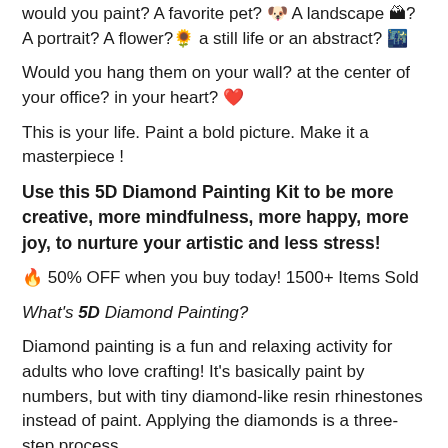would you paint? A favorite pet? 🐶 A landscape 🏔? A portrait? A flower?🌻 a still life or an abstract? 🌃
Would you hang them on your wall? at the center of your office? in your heart? ❤️
This is your life. Paint a bold picture. Make it a masterpiece !
Use this 5D Diamond Painting Kit to be more creative, more mindfulness, more happy, more joy, to nurture your artistic and less stress!
🔥 50% OFF when you buy today! 1500+ Items Sold
What's 5D Diamond Painting?
Diamond painting is a fun and relaxing activity for adults who love crafting! It's basically paint by numbers, but with tiny diamond-like resin rhinestones instead of paint. Applying the diamonds is a three-step process